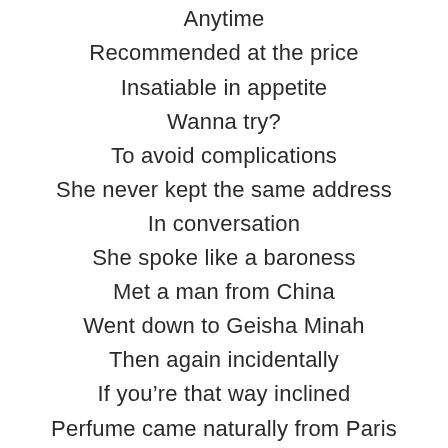Anytime
Recommended at the price
Insatiable in appetite
Wanna try?
To avoid complications
She never kept the same address
In conversation
She spoke like a baroness
Met a man from China
Went down to Geisha Minah
Then again incidentally
If you're that way inclined
Perfume came naturally from Paris